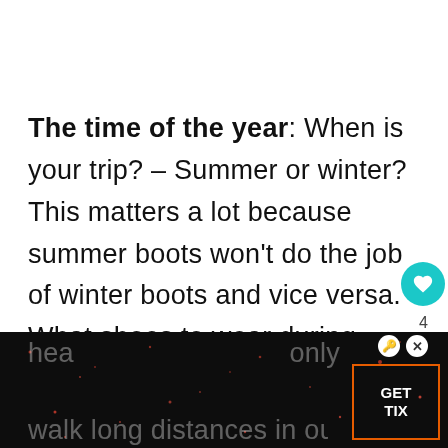The time of the year: When is your trip? – Summer or winter? This matters a lot because summer boots won't do the job of winter boots and vice versa. What shoes to wear during winter can make or break your trip. During the winter in Iceland (November- you will need strong and sturdy heavy... only walk long distances in our mountain...
[Figure (screenshot): Mobile UI overlay showing heart/like button (teal circle), share count '4', share icon, 'WHAT'S NEXT' card showing 'Iceland Packing List...' with green thumbnail image. Bottom shows a dark advertisement overlay with 'GET TIX' button in orange border, close and info buttons, and faint star-field background. Bottom text partially visible showing 'hea', 'only', and 'walk long distances in our mountain'.]